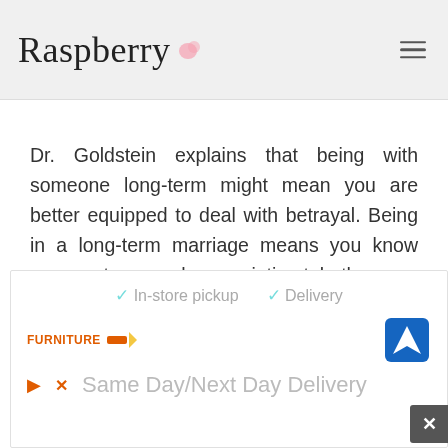Raspberry
Dr. Goldstein explains that being with someone long-term might mean you are better equipped to deal with betrayal. Being in a long-term marriage means you know your partner much more intimately than you would a boyfriend or girlfriend. Yet, there is more to consider than just the length of time you've been with someone.

“If you have been through life together and the struggles it brings, you
[Figure (screenshot): Advertisement banner showing furniture store with in-store pickup and delivery options, navigation icon, play and close buttons, and 'Same Day/Next Day Delivery' text]